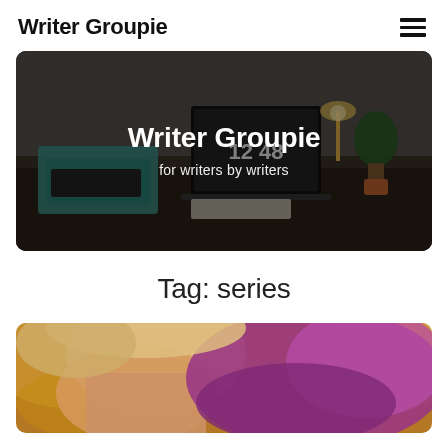Writer Groupie
[Figure (photo): Hero banner image of a writer's desk with typewriter, laptop showing 12:48, and plants. Dark overlay with centered text 'Writer Groupie' and subtitle 'for writers by writers'.]
Tag: series
[Figure (photo): Close-up photo of a blonde woman with purple fabric/clothing, bokeh outdoor background with warm golden tones.]